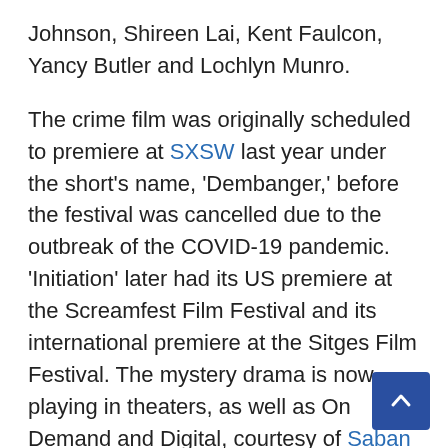Johnson, Shireen Lai, Kent Faulcon, Yancy Butler and Lochlyn Munro.
The crime film was originally scheduled to premiere at SXSW last year under the short's name, 'Dembanger,' before the festival was cancelled due to the outbreak of the COVID-19 pandemic. 'Initiation' later had its US premiere at the Screamfest Film Festival and its international premiere at the Sitges Film Festival. The mystery drama is now playing in theaters, as well as On Demand and Digital, courtesy of Saban Films.
Set during a university's pledge week, 'Initiation' shows that the carefree partying turns deadly serious when a star athlete is